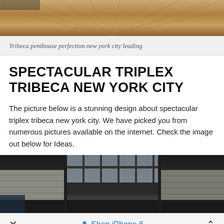[Figure (photo): Top portion of a wood floor or ceiling photo showing wood grain texture in warm brown tones]
Tribeca penthouse perfection new york city leading
SPECTACULAR TRIPLEX TRIBECA NEW YORK CITY
The picture below is a stunning design about spectacular triplex tribeca new york city. We have picked you from numerous pictures available on the internet. Check the image out below for Ideas.
[Figure (photo): Interior photo of a triplex Tribeca New York City penthouse showing industrial-style space with large windows and concrete walls]
Shop iPhone 6